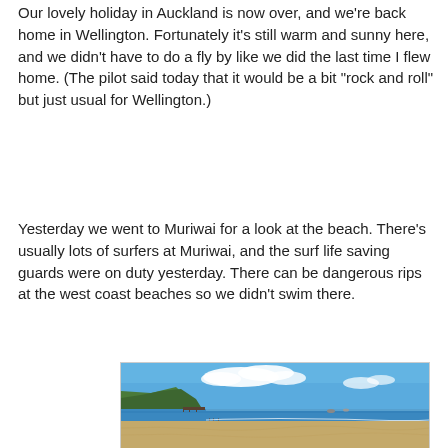Our lovely holiday in Auckland is now over, and we're back home in Wellington. Fortunately it's still warm and sunny here, and we didn't have to do a fly by like we did the last time I flew home. (The pilot said today that it would be a bit "rock and roll" but just usual for Wellington.)
Yesterday we went to Muriwai for a look at the beach. There's usually lots of surfers at Muriwai, and the surf life saving guards were on duty yesterday. There can be dangerous rips at the west coast beaches so we didn't swim there.
[Figure (photo): Beach photo of Muriwai beach showing sandy beach in foreground, blue ocean with small waves, rocky headland on the left with a pier/jetty, blue sky with white clouds above.]